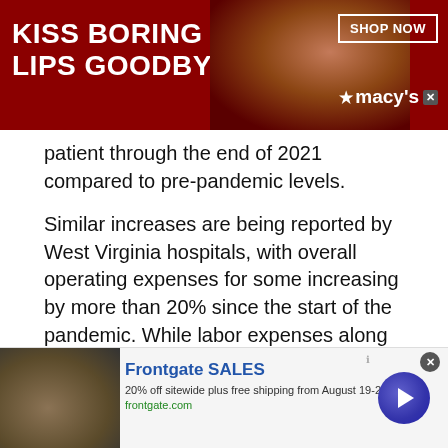[Figure (infographic): Macy's advertisement banner: 'KISS BORING LIPS GOODBYE' with a model's face and red lips, SHOP NOW button, and Macy's logo on dark red background]
patient through the end of 2021 compared to pre-pandemic levels.
Similar increases are being reported by West Virginia hospitals, with overall operating expenses for some increasing by more than 20% since the start of the pandemic. While labor expenses along with medical supply spend have commanded headlines, supply chain issues – from intravenous (IV) contrast media products for CT imaging to infant formula - are also striking the hospital community and impacting access to care.
[Figure (infographic): Frontgate SALES advertisement: '20% off sitewide plus free shipping from August 19-22, frontgate.com' with outdoor furniture image and arrow button]